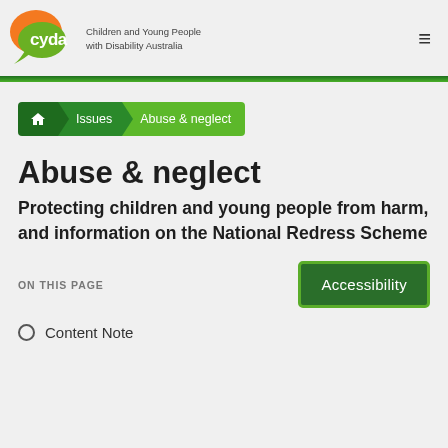CYDA – Children and Young People with Disability Australia
[Figure (logo): CYDA logo with orange and green speech bubble shapes containing the text 'cyda', alongside text 'Children and Young People with Disability Australia']
≡ (hamburger menu icon)
Home > Issues > Abuse & neglect (breadcrumb navigation)
Abuse & neglect
Protecting children and young people from harm, and information on the National Redress Scheme
ON THIS PAGE
Accessibility
Content Note